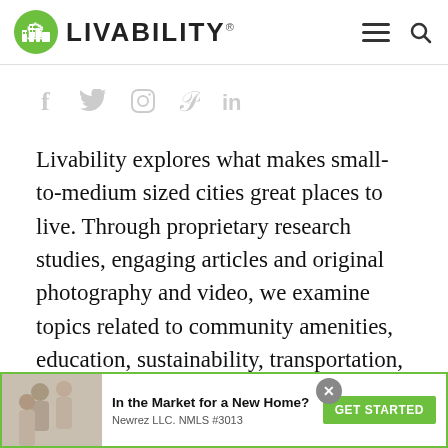[Figure (logo): Livability logo with green circle icon containing city silhouette and text LIVABILITY]
[Figure (infographic): Social media icons: Facebook (f), Twitter, Instagram, Pinterest, LinkedIn]
Livability explores what makes small-to-medium sized cities great places to live. Through proprietary research studies, engaging articles and original photography and video, we examine topics related to community amenities, education, sustainability, transportation, housing and the
[Figure (infographic): Advertisement banner: In the Market for a New Home? Newrez LLC. NMLS #3013 GET STARTED button, with photo of couple]